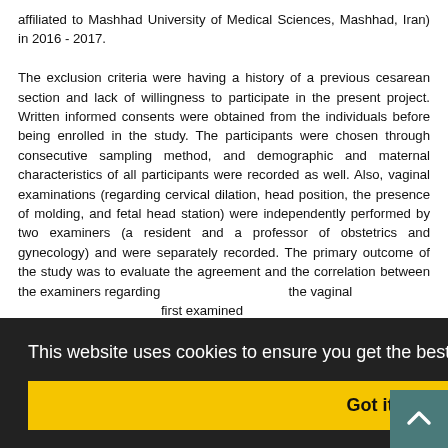affiliated to Mashhad University of Medical Sciences, Mashhad, Iran) in 2016 - 2017. The exclusion criteria were having a history of a previous cesarean section and lack of willingness to participate in the present project. Written informed consents were obtained from the individuals before being enrolled in the study. The participants were chosen through consecutive sampling method, and demographic and maternal characteristics of all participants were recorded as well. Also, vaginal examinations (regarding cervical dilation, head position, the presence of molding, and fetal head station) were independently performed by two examiners (a resident and a professor of obstetrics and gynecology) and were separately recorded. The primary outcome of the study was to evaluate the agreement and the correlation between the examiners regarding the vaginal first examined ; three section and distances d outlet were section division e ischial spi and one, two, and three below the ischial spines. During vag
This website uses cookies to ensure you get the best experience on our website.
Got it!